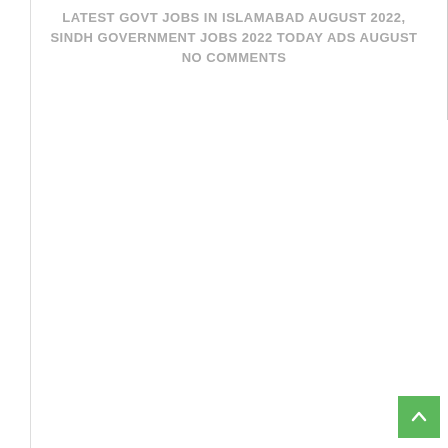LATEST GOVT JOBS IN ISLAMABAD AUGUST 2022, SINDH GOVERNMENT JOBS 2022 TODAY ADS AUGUST
NO COMMENTS